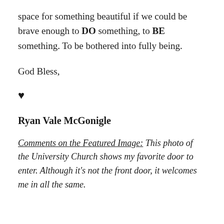space for something beautiful if we could be brave enough to DO something, to BE something. To be bothered into fully being.
God Bless,
♥
Ryan Vale McGonigle
Comments on the Featured Image: This photo of the University Church shows my favorite door to enter. Although it's not the front door, it welcomes me in all the same.